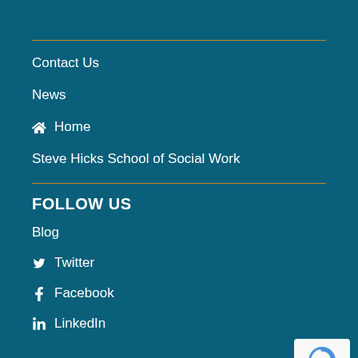Contact Us
News
Home
Steve Hicks School of Social Work
FOLLOW US
Blog
Twitter
Facebook
LinkedIn
[Figure (logo): reCAPTCHA badge with circular arrow icon and Privacy - Terms text]